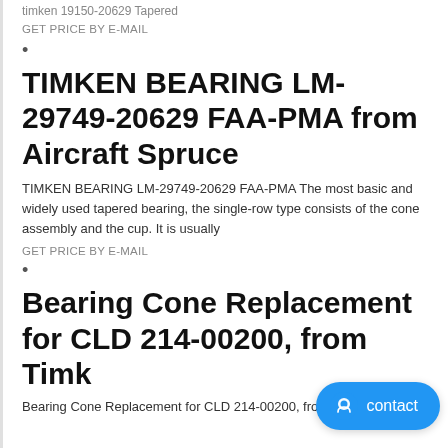timken 19150-20629 Tapered
GET PRICE BY E-MAIL
•
TIMKEN BEARING LM-29749-20629 FAA-PMA from Aircraft Spruce
TIMKEN BEARING LM-29749-20629 FAA-PMA The most basic and widely used tapered bearing, the single-row type consists of the cone assembly and the cup. It is usually
GET PRICE BY E-MAIL
•
Bearing Cone Replacement for CLD 214-00200, from Timk
Bearing Cone Replacement for CLD 214-00200, from Timken TMK